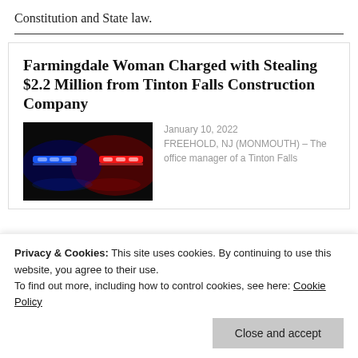Constitution and State law.
Farmingdale Woman Charged with Stealing $2.2 Million from Tinton Falls Construction Company
[Figure (photo): Photo of police car lights (blue and red) against a dark background]
January 10, 2022
FREEHOLD, NJ (MONMOUTH) – The office manager of a Tinton Falls
Privacy & Cookies: This site uses cookies. By continuing to use this website, you agree to their use.
To find out more, including how to control cookies, see here: Cookie Policy